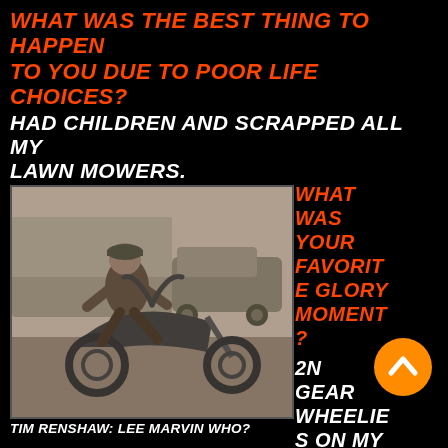WHAT WAS THE BEST THING TO HAPPEN TO YOU DUE TO POOR LIFE CHOICES?
HAD CHILDREN AND SCRAPPED ALL MY LAWN MOWERS.
[Figure (photo): Black and white vintage photo of a young man sitting on a chopper/custom motorcycle on a street, with a car visible in the background]
TIM RENSHAW: LEE MARVIN WHO?
WHAT WAS YOUR FAVORITE GLORY MOMENT? 2ND GEAR WHEELIES ON MY